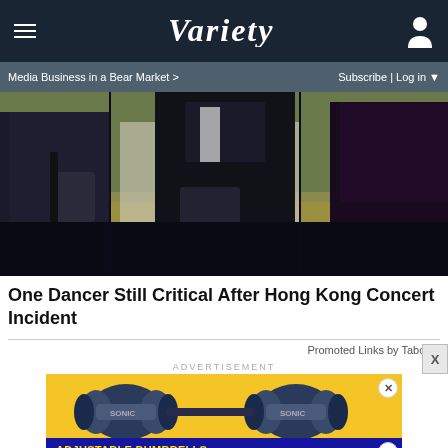VARIETY
Media Business in a Bear Market >   Subscribe | Log in
[Figure (photo): Three people in dark formal suits walking, photographed from the torso down, outdoors with blurred background]
One Dancer Still Critical After Hong Kong Concert Incident
Promoted Links by Taboola
ADVERTISEMENT
[Figure (photo): Advertisement showing adjustable dumbbells with yellow background and blue bar reading 'ADJUSTABLE DUMBBELLS SPY TESTED & REVIEWED']